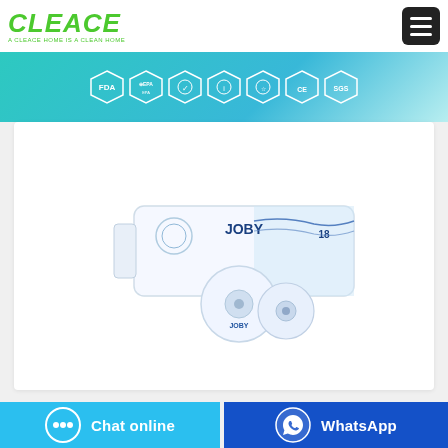CLEACE — A CLEACE HOME IS A CLEAN HOME
[Figure (infographic): Certification badge banner showing FDA, EPA, and other quality certification logos on a teal/blue gradient background]
[Figure (photo): JOBY branded toilet paper product — a rectangular white package with blue design and two toilet paper rolls in front, labeled JOBY]
Chat online
WhatsApp